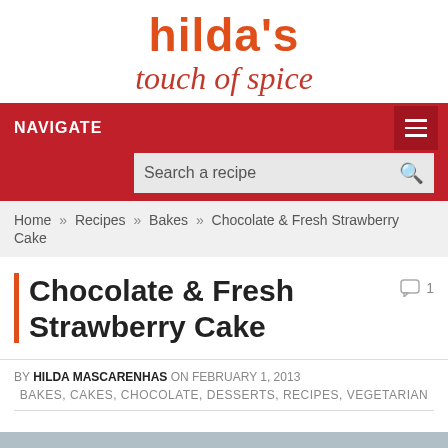hilda's touch of spice
NAVIGATE
Search a recipe
Home » Recipes » Bakes » Chocolate & Fresh Strawberry Cake
Chocolate & Fresh Strawberry Cake
BY HILDA MASCARENHAS ON FEBRUARY 1, 2013
BAKES, CAKES, CHOCOLATE, DESSERTS, RECIPES, VEGETARIAN
[Figure (photo): Bottom image strip, partially visible at bottom of page]